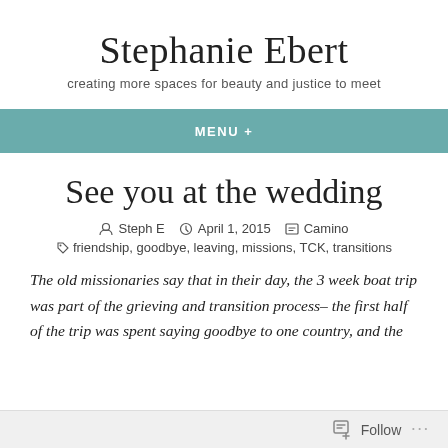Stephanie Ebert
creating more spaces for beauty and justice to meet
MENU +
See you at the wedding
Steph E  April 1, 2015  Camino
friendship, goodbye, leaving, missions, TCK, transitions
The old missionaries say that in their day, the 3 week boat trip was part of the grieving and transition process– the first half of the trip was spent saying goodbye to one country, and the
Follow ...